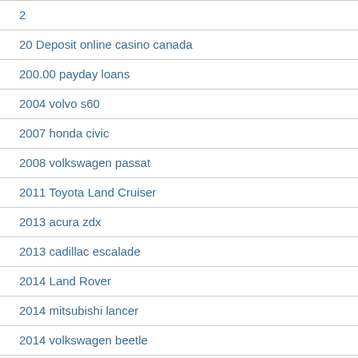2
20 Deposit online casino canada
200.00 payday loans
2004 volvo s60
2007 honda civic
2008 volkswagen passat
2011 Toyota Land Cruiser
2013 acura zdx
2013 cadillac escalade
2014 Land Rover
2014 mitsubishi lancer
2014 volkswagen beetle
2016 mercedes-benz gla-class
2017 kia forte
2022 toyota highlander